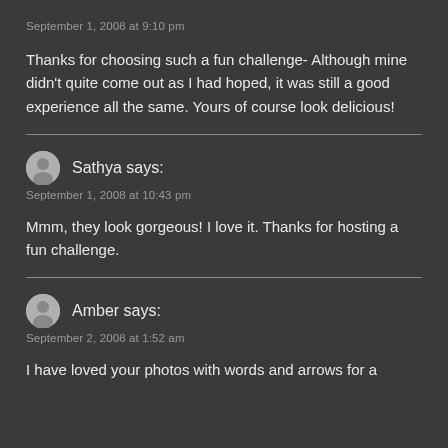September 1, 2008 at 9:10 pm
Thanks for choosing such a fun challenge- Although mine didn't quite come out as I had hoped, it was still a good experience all the same. Yours of course look delicious!
Sathya says:
September 1, 2008 at 10:43 pm
Mmm, they look gorgeous! I love it. Thanks for hosting a fun challenge.
Amber says:
September 2, 2008 at 1:52 am
I have loved your photos with words and arrows for a